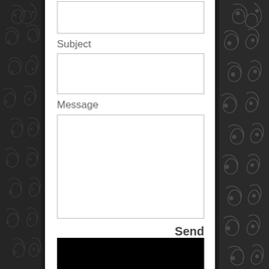[Figure (illustration): Dark ornamental floral scroll pattern background on left and right sides of page]
Subject
Message
Send
[Figure (other): Black rectangle at bottom of content area]